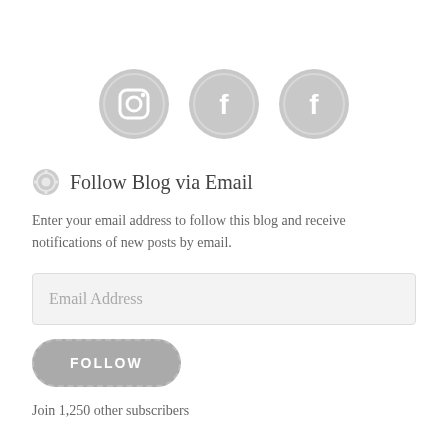[Figure (illustration): Three circular social media icons in light grey: Instagram, Facebook, Facebook]
Follow Blog via Email
Enter your email address to follow this blog and receive notifications of new posts by email.
Email Address
FOLLOW
Join 1,250 other subscribers